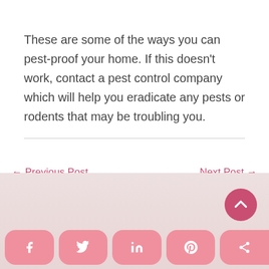These are some of the ways you can pest-proof your home. If this doesn't work, contact a pest control company which will help you eradicate any pests or rodents that may be troubling you.
← Previous Post
Next Post →
[Figure (infographic): Pink footer area with social media share buttons (Facebook, Twitter, LinkedIn, Pinterest, Share) and a dark pink scroll-to-top button with upward chevron.]